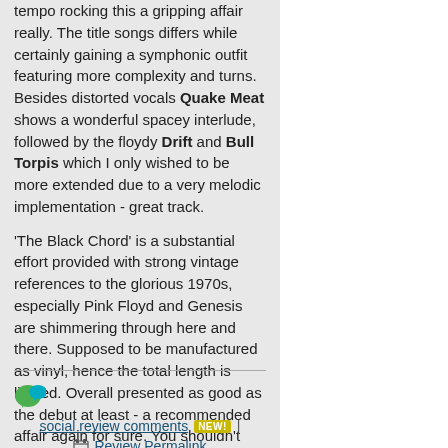tempo rocking this a gripping affair really. The title songs differs while certainly gaining a symphonic outfit featuring more complexity and turns. Besides distorted vocals Quake Meat shows a wonderful spacey interlude, followed by the floydy Drift and Bull Torpis which I only wished to be more extended due to a very melodic implementation - great track.

'The Black Chord' is a substantial effort provided with strong vintage references to the glorious 1970s, especially Pink Floyd and Genesis are shimmering through here and there. Supposed to be manufactured as vinyl, hence the total length is limited. Overall presented as good as the debut at least - a recommended affair again for sure. You shouldn't miss this band.
social review comments NEW! | Review Permalink